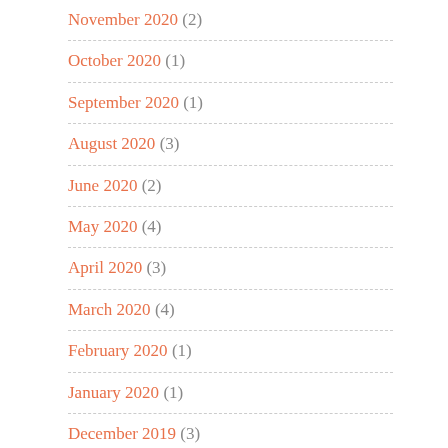November 2020 (2)
October 2020 (1)
September 2020 (1)
August 2020 (3)
June 2020 (2)
May 2020 (4)
April 2020 (3)
March 2020 (4)
February 2020 (1)
January 2020 (1)
December 2019 (3)